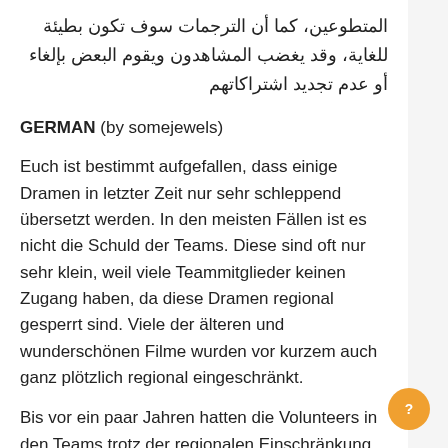المتطوعين، كما أن الترجمات سوف تكون بطيئة للغاية، وقد يغضب المشاهدون ويقوم البعض بإلغاء أو عدم تجديد اشتراكاتهم
GERMAN (by somejewels)
Euch ist bestimmt aufgefallen, dass einige Dramen in letzter Zeit nur sehr schleppend übersetzt werden. In den meisten Fällen ist es nicht die Schuld der Teams. Diese sind oft nur sehr klein, weil viele Teammitglieder keinen Zugang haben, da diese Dramen regional gesperrt sind. Viele der älteren und wunderschönen Filme wurden vor kurzem auch ganz plötzlich regional eingeschränkt.
Bis vor ein paar Jahren hatten die Volunteers in den Teams trotz der regionalen Einschränkung Zugriff zu diesen Dramen. Nur ganz selten gab es Dramen, die auch für diese